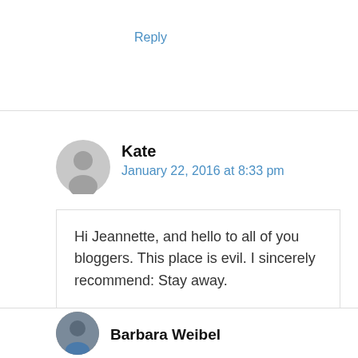Reply
Kate
January 22, 2016 at 8:33 pm
Hi Jeannette, and hello to all of you bloggers. This place is evil. I sincerely recommend: Stay away.
Reply
Barbara Weibel